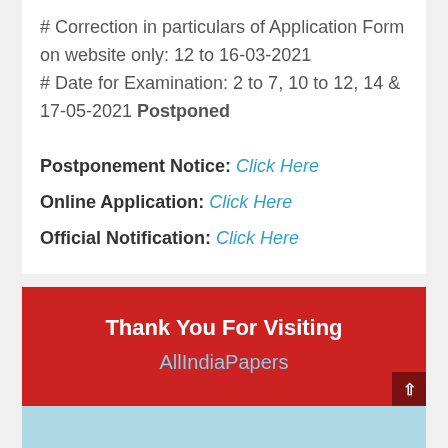# Correction in particulars of Application Form on website only: 12 to 16-03-2021
# Date for Examination: 2 to 7, 10 to 12, 14 & 17-05-2021 Postponed
Postponement Notice: Click Here
Online Application: Click Here
Official Notification: Click Here
Thank You For Visiting
AllIndiaPapers